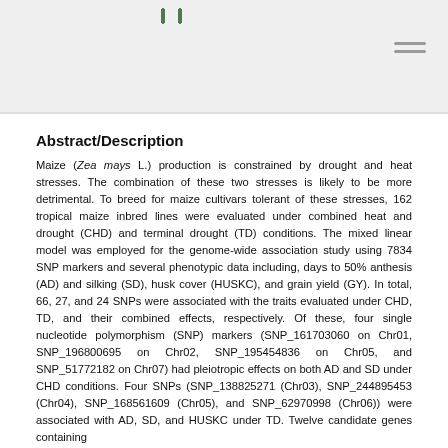Abstract/Description
Maize (Zea mays L.) production is constrained by drought and heat stresses. The combination of these two stresses is likely to be more detrimental. To breed for maize cultivars tolerant of these stresses, 162 tropical maize inbred lines were evaluated under combined heat and drought (CHD) and terminal drought (TD) conditions. The mixed linear model was employed for the genome-wide association study using 7834 SNP markers and several phenotypic data including, days to 50% anthesis (AD) and silking (SD), husk cover (HUSKC), and grain yield (GY). In total, 66, 27, and 24 SNPs were associated with the traits evaluated under CHD, TD, and their combined effects, respectively. Of these, four single nucleotide polymorphism (SNP) markers (SNP_161703060 on Chr01, SNP_196800695 on Chr02, SNP_195454836 on Chr05, and SNP_51772182 on Chr07) had pleiotropic effects on both AD and SD under CHD conditions. Four SNPs (SNP_138825271 (Chr03), SNP_244895453 (Chr04), SNP_168561609 (Chr05), and SNP_62970998 (Chr06)) were associated with AD, SD, and HUSKC under TD. Twelve candidate genes containing